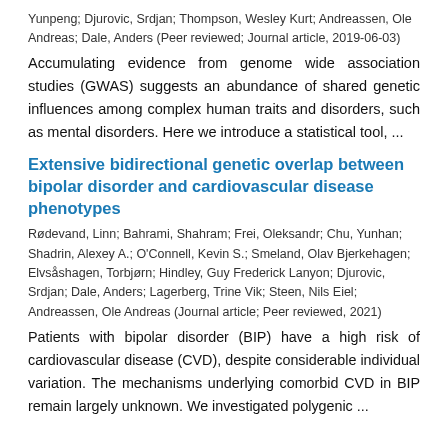Yunpeng; Djurovic, Srdjan; Thompson, Wesley Kurt; Andreassen, Ole Andreas; Dale, Anders (Peer reviewed; Journal article, 2019-06-03)
Accumulating evidence from genome wide association studies (GWAS) suggests an abundance of shared genetic influences among complex human traits and disorders, such as mental disorders. Here we introduce a statistical tool, ...
Extensive bidirectional genetic overlap between bipolar disorder and cardiovascular disease phenotypes
Rødevand, Linn; Bahrami, Shahram; Frei, Oleksandr; Chu, Yunhan; Shadrin, Alexey A.; O'Connell, Kevin S.; Smeland, Olav Bjerkehagen; Elvsåshagen, Torbjørn; Hindley, Guy Frederick Lanyon; Djurovic, Srdjan; Dale, Anders; Lagerberg, Trine Vik; Steen, Nils Eiel; Andreassen, Ole Andreas (Journal article; Peer reviewed, 2021)
Patients with bipolar disorder (BIP) have a high risk of cardiovascular disease (CVD), despite considerable individual variation. The mechanisms underlying comorbid CVD in BIP remain largely unknown. We investigated polygenic ...